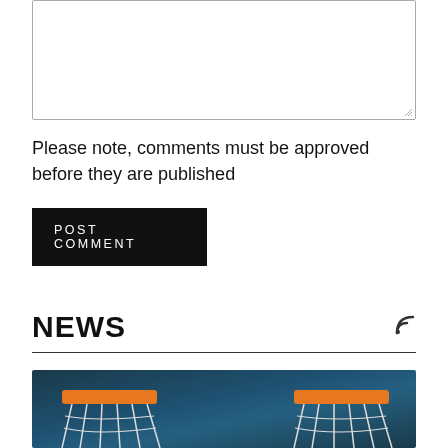(textarea input box)
Please note, comments must be approved before they are published
POST COMMENT
NEWS
[Figure (illustration): Basketball hoops illustration on a dark teal background, showing two orange basketball hoops with white nets on either side]